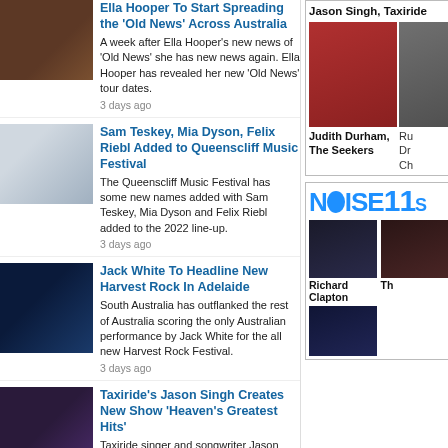[Figure (photo): Ella Hooper seated at piano, warm toned portrait]
Ella Hooper To Start Spreading the 'Old News' Across Australia
A week after Ella Hooper's new news of 'Old News' she has new news again. Ella Hooper has revealed her new 'Old News' tour dates.
3 days ago
[Figure (photo): Woman in pink/light coloured outdoor setting]
Sam Teskey, Mia Dyson, Felix Riebl Added to Queenscliff Music Festival
The Queenscliff Music Festival has some new names added with Sam Teskey, Mia Dyson and Felix Riebl added to the 2022 line-up.
3 days ago
[Figure (photo): Jack White performing on dark blue stage]
Jack White To Headline New Harvest Rock In Adelaide
South Australia has outflanked the rest of Australia scoring the only Australian performance by Jack White for the all new Harvest Rock Festival.
3 days ago
[Figure (photo): Taxiride Greatest Hits album artwork with group]
Taxiride's Jason Singh Creates New Show 'Heaven's Greatest Hits'
Taxiride singer and songwriter Jason Singh has put his own songs aside to perform the songs of the artists who inspired him. His new show is called 'Heaven's Greatest Hits'
Jason Singh, Taxiride
[Figure (photo): Judith Durham portrait in red jacket]
Judith Durham, The Seekers
[Figure (photo): Partial image on right side - partially visible]
Ru Dr Ch
[Figure (logo): Noise11 logo in blue]
[Figure (photo): Richard Clapton portrait]
Richard Clapton
[Figure (photo): Th - partially visible artist photo]
Th
[Figure (photo): Bottom row artist thumbnail]